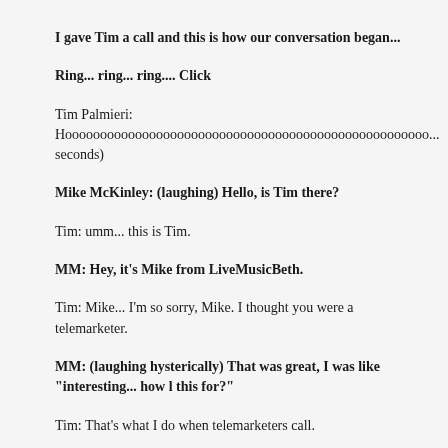I gave Tim a call and this is how our conversation began...
Ring... ring... ring.... Click
Tim Palmieri: Hoooooooooooooooooooooooooooooooooooooooooooooooooooo... seconds)
Mike McKinley: (laughing) Hello, is Tim there?
Tim: umm... this is Tim.
MM: Hey, it's Mike from LiveMusicBeth.
Tim: Mike... I'm so sorry, Mike. I thought you were a telemarketer.
MM: (laughing hysterically) That was great, I was like "interesting... how l this for?"
Tim: That's what I do when telemarketers call.
MM: Yeah, me too. I just freak out on them.
Tim: [text continues below...]